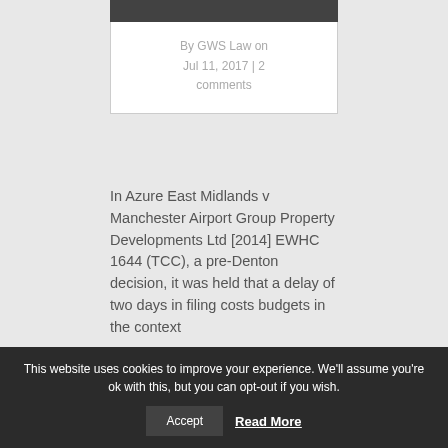By GWS Law on Jul 11, 2017 | 2 comments
In Azure East Midlands v Manchester Airport Group Property Developments Ltd [2014] EWHC 1644 (TCC), a pre-Denton decision, it was held that a delay of two days in filing costs budgets in the context of...
This website uses cookies to improve your experience. We'll assume you're ok with this, but you can opt-out if you wish. Accept Read More